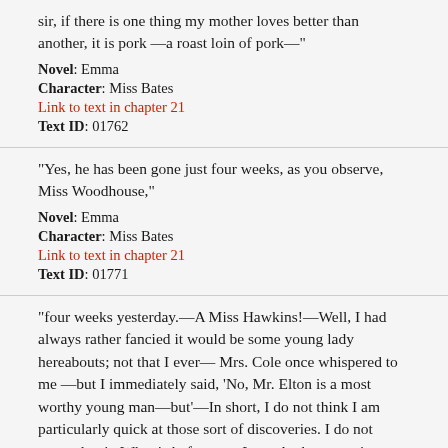sir, if there is one thing my mother loves better than another, it is pork —a roast loin of pork—"
Novel: Emma
Character: Miss Bates
Link to text in chapter 21
Text ID: 01762
"Yes, he has been gone just four weeks, as you observe, Miss Woodhouse,"
Novel: Emma
Character: Miss Bates
Link to text in chapter 21
Text ID: 01771
"four weeks yesterday.—A Miss Hawkins!—Well, I had always rather fancied it would be some young lady hereabouts; not that I ever— Mrs. Cole once whispered to me —but I immediately said, 'No, Mr. Elton is a most worthy young man—but'—In short, I do not think I am particularly quick at those sort of discoveries. I do not pretend to it. What is before me, I see. At the same time, nobody could wonder if Mr. Elton should have